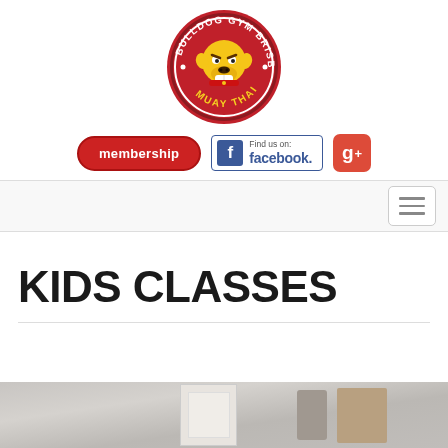[Figure (logo): Bulldog Gym Brisbane Muay Thai circular logo with bulldog mascot in red and gold]
[Figure (other): Membership button (red pill-shaped), Facebook Find us on badge, and Google+ red square button]
[Figure (other): Navigation bar with hamburger menu icon on the right]
KIDS CLASSES
[Figure (photo): Bottom strip showing interior of gym/room with poster on wall]